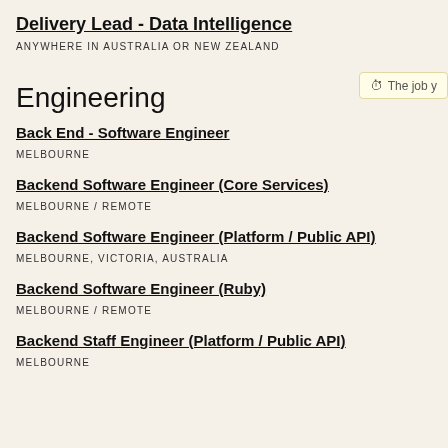Delivery Lead - Data Intelligence
ANYWHERE IN AUSTRALIA OR NEW ZEALAND
The job y
Engineering
Back End - Software Engineer
MELBOURNE
Backend Software Engineer (Core Services)
MELBOURNE / REMOTE
Backend Software Engineer (Platform / Public API)
MELBOURNE, VICTORIA, AUSTRALIA
Backend Software Engineer (Ruby)
MELBOURNE / REMOTE
Backend Staff Engineer (Platform / Public API)
MELBOURNE